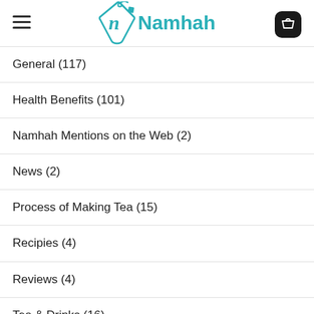Namhah
General (117)
Health Benefits (101)
Namhah Mentions on the Web (2)
News (2)
Process of Making Tea (15)
Recipies (4)
Reviews (4)
Tea & Drinks (16)
Uncategorized (2)